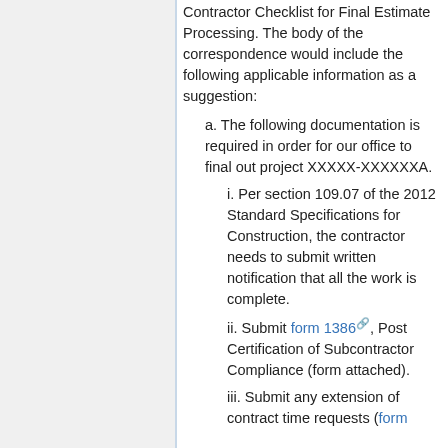Contractor Checklist for Final Estimate Processing. The body of the correspondence would include the following applicable information as a suggestion:
a. The following documentation is required in order for our office to final out project XXXXX-XXXXXXA.
i. Per section 109.07 of the 2012 Standard Specifications for Construction, the contractor needs to submit written notification that all the work is complete.
ii. Submit form 1386, Post Certification of Subcontractor Compliance (form attached).
iii. Submit any extension of contract time requests (form